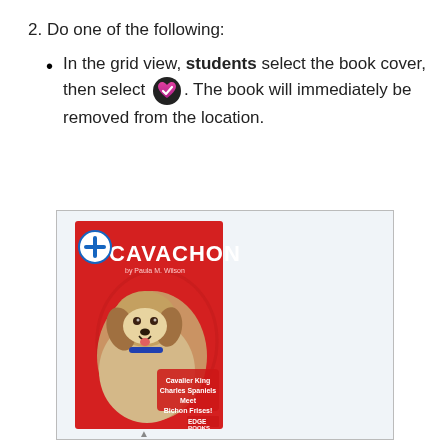2. Do one of the following:
In the grid view, students select the book cover, then select [heart icon]. The book will immediately be removed from the location.
[Figure (screenshot): Screenshot showing a book cover for 'CAVACHON' by Paula M. Wilson on a red background with a fluffy dog photo, a blue plus icon in the top left, and text 'Cavalier King Charles Spaniels Meet Bichon Frises!' with EDGE BOOKS logo at bottom right.]